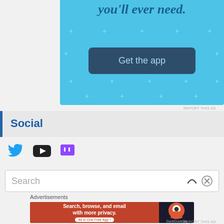[Figure (screenshot): Blue app advertisement banner with 'you'll ever need.' text, decorative plus/star symbols, and a dark blue 'Get the app' button]
REPORT THIS AD
Social
[Figure (screenshot): Social media icons: Twitter bird, YouTube play button, Twitch logo]
[Figure (screenshot): Search bar with placeholder text 'Search']
Advertisements
[Figure (screenshot): DuckDuckGo advertisement banner: 'Search, browse, and email with more privacy. All in One Free App' with DuckDuckGo logo on dark right panel]
REPORT THIS AD